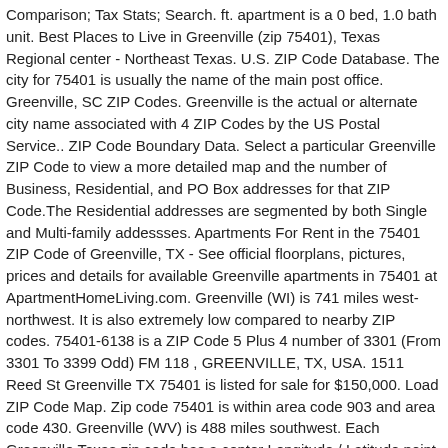Comparison; Tax Stats; Search. ft. apartment is a 0 bed, 1.0 bath unit. Best Places to Live in Greenville (zip 75401), Texas Regional center - Northeast Texas. U.S. ZIP Code Database. The city for 75401 is usually the name of the main post office. Greenville, SC ZIP Codes. Greenville is the actual or alternate city name associated with 4 ZIP Codes by the US Postal Service.. ZIP Code Boundary Data. Select a particular Greenville ZIP Code to view a more detailed map and the number of Business, Residential, and PO Box addresses for that ZIP Code.The Residential addresses are segmented by both Single and Multi-family addessses. Apartments For Rent in the 75401 ZIP Code of Greenville, TX - See official floorplans, pictures, prices and details for available Greenville apartments in 75401 at ApartmentHomeLiving.com. Greenville (WI) is 741 miles west-northwest. It is also extremely low compared to nearby ZIP codes. 75401-6138 is a ZIP Code 5 Plus 4 number of 3301 (From 3301 To 3399 Odd) FM 118 , GREENVILLE, TX, USA. 1511 Reed St Greenville TX 75401 is listed for sale for $150,000. Load ZIP Code Map. Zip code 75401 is within area code 903 and area code 430. Greenville (WV) is 488 miles southwest. Each Greenville Texas zip code has a center Longitude / Latitude point (the Greenville center is -96.099800109863 / 33.116199493408). Recently Sold Homes in Greenville, TX have a